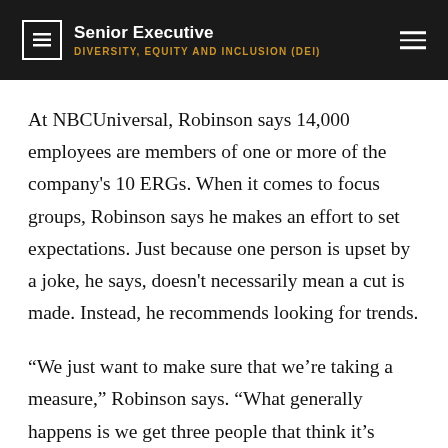Senior Executive | DIVERSITY, EQUITY AND INCLUSION (DEI)
At NBCUniversal, Robinson says 14,000 employees are members of one or more of the company's 10 ERGs. When it comes to focus groups, Robinson says he makes an effort to set expectations. Just because one person is upset by a joke, he says, doesn't necessarily mean a cut is made. Instead, he recommends looking for trends.
“We just want to make sure that we’re taking a measure,” Robinson says. “What generally happens is we get three people that think it’s